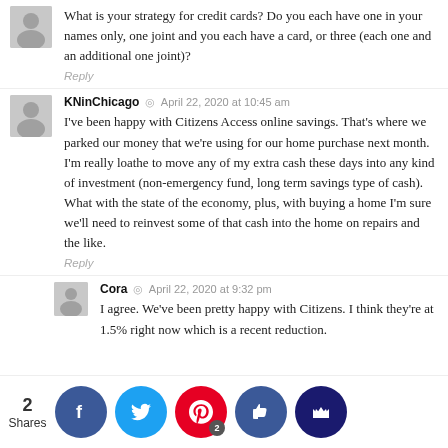What is your strategy for credit cards? Do you each have one in your names only, one joint and you each have a card, or three (each one and an additional one joint)?
Reply
KNinChicago  ◎  April 22, 2020 at 10:45 am
I've been happy with Citizens Access online savings. That's where we parked our money that we're using for our home purchase next month. I'm really loathe to move any of my extra cash these days into any kind of investment (non-emergency fund, long term savings type of cash). What with the state of the economy, plus, with buying a home I'm sure we'll need to reinvest some of that cash into the home on repairs and the like.
Reply
Cora  ◎  April 22, 2020 at 9:32 pm
I agree. We've been pretty happy with Citizens. I think they're at 1.5% right now which is a recent reduction.
2 Shares